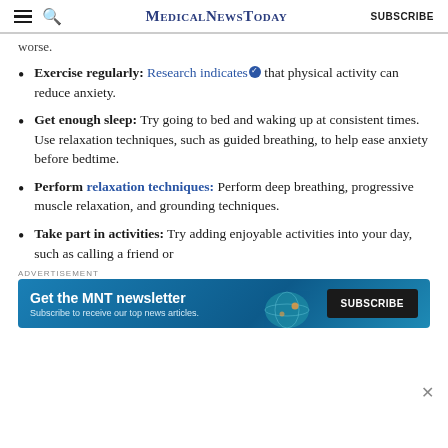MedicalNewsToday SUBSCRIBE
worse.
Exercise regularly: Research indicates that physical activity can reduce anxiety.
Get enough sleep: Try going to bed and waking up at consistent times. Use relaxation techniques, such as guided breathing, to help ease anxiety before bedtime.
Perform relaxation techniques: Perform deep breathing, progressive muscle relaxation, and grounding techniques.
Take part in activities: Try adding enjoyable activities into your day, such as calling a friend or
[Figure (screenshot): Advertisement banner for MNT newsletter with blue gradient background. Text reads 'Get the MNT newsletter' with subtitle 'Subscribe to receive our top news articles.' and a black SUBSCRIBE button on the right.]